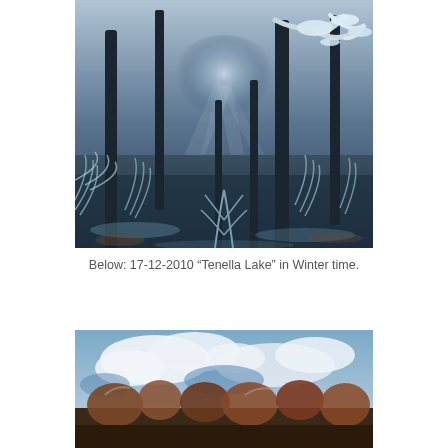[Figure (photo): Winter forest scene with frost-covered trees and vegetation, sunlight streaming through bare trees, blue-toned frosted undergrowth and branches with snow.]
Below: 17-12-2010 “Tenella Lake” in Winter time.
[Figure (photo): Winter lake scene with cloudy sky, bare trees with autumn/winter colors in the foreground, blue sky with white clouds above.]